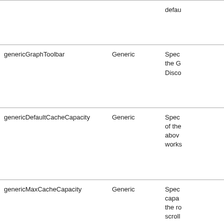| Name | Type | Description |
| --- | --- | --- |
|  |  | defau... |
| genericGraphToolbar | Generic | Spec... the G... Disco... |
| genericDefaultCacheCapacity | Generic | Spec... of the above... works... |
| genericMaxCacheCapacity | Generic | Spec... capa... the ro... scroll... |